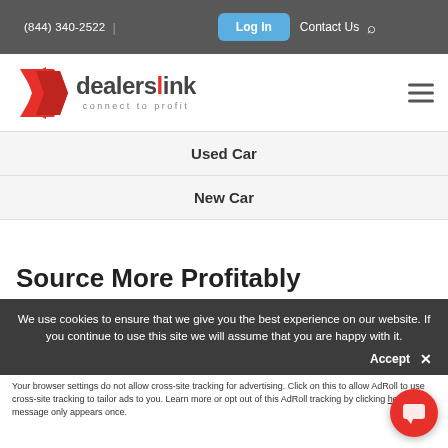(844) 340-2522  |  Log In  Contact Us
[Figure (logo): Dealerslink logo with red arrow graphic and tagline 'connect to profit']
Used Car
New Car
Source More Profitably
We use cookies to ensure that we give you the best experience on our website. If you continue to use this site we will assume that you are happy with it.
Your browser settings do not allow cross-site tracking for advertising. Click on this to allow AdRoll to use cross-site tracking to tailor ads to you. Learn more or opt out of this AdRoll tracking by clicking here. This message only appears once.